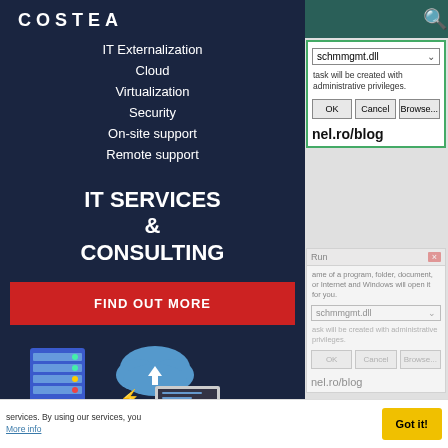[Figure (screenshot): Website sidebar with dark navy background showing logo 'COSTEA', navigation menu items, IT Services & Consulting tagline, Find Out More button, and server/cloud illustration. Overlaid with Windows Run dialog screenshots showing schmmgmt.dll entry.]
IT Externalization
Cloud
Virtualization
Security
On-site support
Remote support
IT SERVICES & CONSULTING
FIND OUT MORE
schmmgmt.dll
task will be created with administrative privileges.
nel.ro/blog
Run
ame of a program, folder, document, or Internet and Windows will open it for you.
schmmgmt.dll
ask will be created with administrative privileges.
nel.ro/blog
services. By using our services, you
More info
Got it!